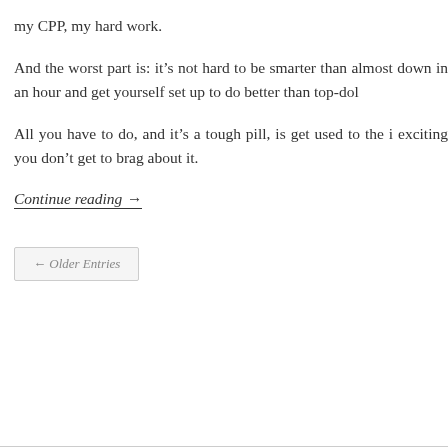my CPP, my hard work.
And the worst part is: it’s not hard to be smarter than almost down in an hour and get yourself set up to do better than top-dol
All you have to do, and it’s a tough pill, is get used to the i exciting you don’t get to brag about it.
Continue reading →
← Older Entries